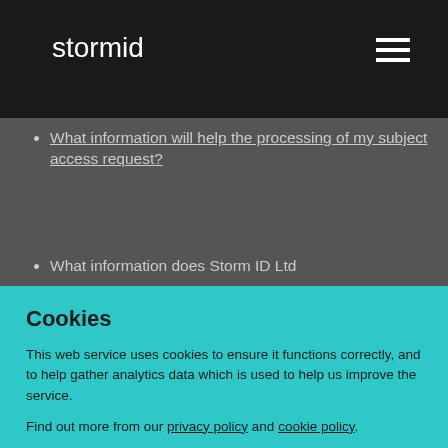stormid
What information will help the processing of my subject access request?
What information does Storm ID Ltd
Cookies
This web service uses cookies to ensure it functions correctly, and to help gather analytics data which is used to help us improve the service.
Find out more from our privacy policy and cookie policy.